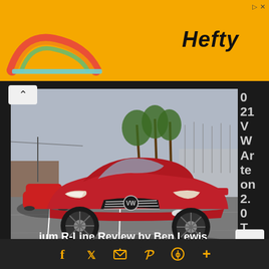[Figure (photo): Advertisement banner with orange/yellow background featuring Hefty brand logo and a stylized arc graphic element]
[Figure (photo): Front three-quarter view of a red 2021 Volkswagen Arteon 2.0T SEL Premium R-Line in a parking lot near a marina with palm trees and sailboats visible in background. A red Porsche is parked to the left. Watermark reads C_AR_REVS_ONLY.]
0 21 V W Ar te on 2. 0 T SE L Pr e m ium R-Line Review by Ben Lewis